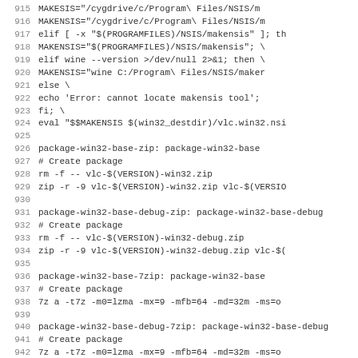[Figure (screenshot): Source code / Makefile snippet showing lines 915-947 with shell script targets for building win32 packages using NSIS, zip, and 7zip tools.]